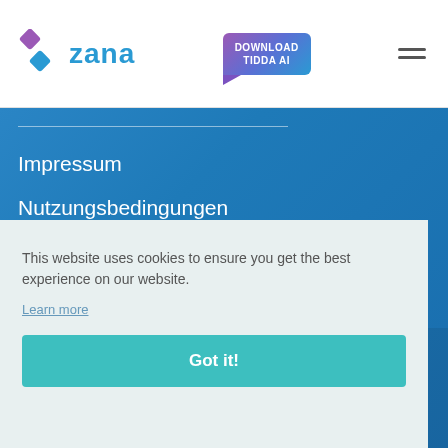[Figure (logo): Zana logo with geometric diamond/arrow icon in purple and blue, followed by 'zana' text in blue]
[Figure (screenshot): Download Tidda AI button, purple-to-blue gradient with folded corner]
[Figure (other): Hamburger menu icon (three horizontal lines)]
Impressum
Nutzungsbedingungen
Ihre Privatsphäre auf Zana
This website uses cookies to ensure you get the best experience on our website.
Learn more
Got it!